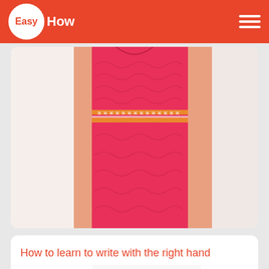EasyHow
[Figure (photo): Person wearing a pink crocheted top/dress, showing the crochet texture and design with orange/yellow stripes]
How to learn to write with the right hand
[Figure (photo): Person in white shirt writing with a pen on paper at a table, showing right-hand writing technique]
How to knit crochet neck...